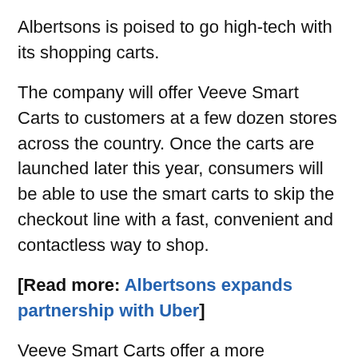Albertsons is poised to go high-tech with its shopping carts.
The company will offer Veeve Smart Carts to customers at a few dozen stores across the country. Once the carts are launched later this year, consumers will be able to use the smart carts to skip the checkout line with a fast, convenient and contactless way to shop.
[Read more: Albertsons expands partnership with Uber]
Veeve Smart Carts offer a more personalized shopping experience enabled by a touch screen that provides a running total for in-cart items and a built-in scale for easy produce purchase, the company said.
Each tech-enhanced cart, which also will integrate Albertsons for U loyalty program, allows shoppers who